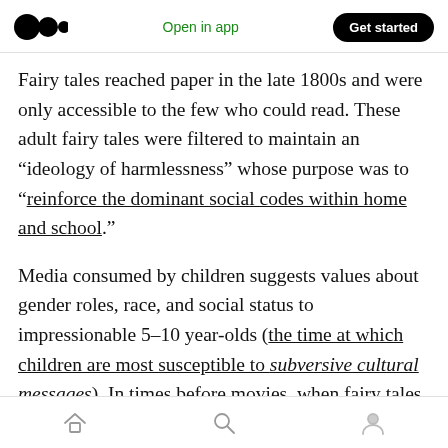Open in app | Get started
Fairy tales reached paper in the late 1800s and were only accessible to the few who could read. These adult fairy tales were filtered to maintain an “ideology of harmlessness” whose purpose was to “reinforce the dominant social codes within home and school.”
Media consumed by children suggests values about gender roles, race, and social status to impressionable 5–10 year-olds (the time at which children are most susceptible to subversive cultural messages). In times before movies, when fairy tales were communicated by word-of-
home | search | profile